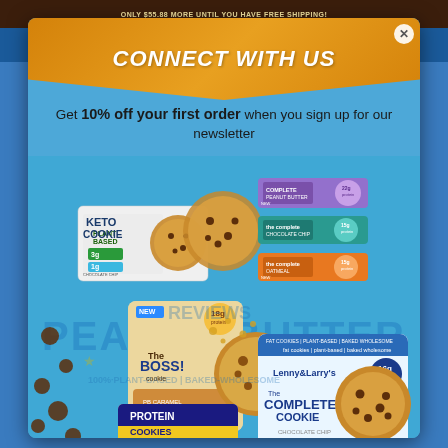ONLY $55.88 MORE UNTIL YOU HAVE FREE SHIPPING!
CONNECT WITH US
Get 10% off your first order when you sign up for our newsletter
[Figure (photo): Modal popup with Lenny & Larry's cookie and protein bar product lineup on a blue background, including Keto Cookie, The Boss! Cookie, The Complete Cookie, Protein Cookies, and Complete Bars]